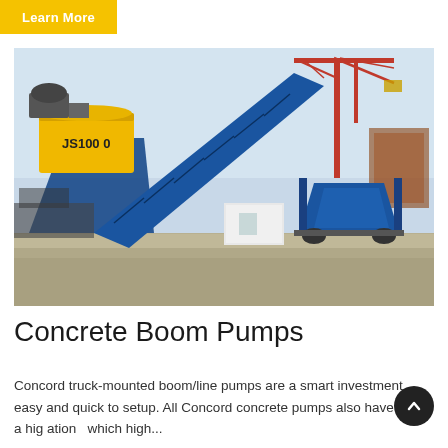Learn More
[Figure (photo): A large blue JS1000 concrete batching plant with a diagonal conveyor belt, hopper bins, and a small white control cabin. A tall red tower crane is visible in the background against a hazy sky. The equipment is parked in an outdoor construction yard.]
Concrete Boom Pumps
Concord truck-mounted boom/line pumps are a smart investment easy and quick to setup. All Concord concrete pumps also have a high ation... which high...